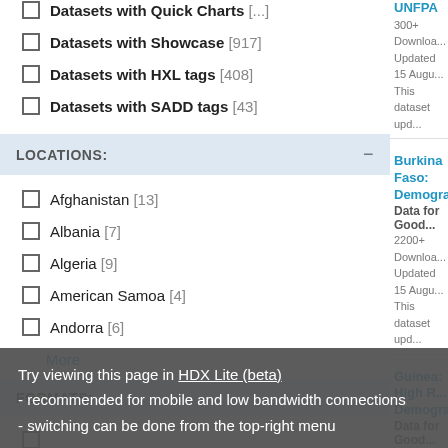Datasets with Quick Charts [...]
Datasets with Showcase [917]
Datasets with HXL tags [408]
Datasets with SADD tags [43]
LOCATIONS:
Afghanistan [13]
Albania [7]
Algeria [9]
American Samoa [4]
Andorra [6]
More
FORMATS:
GeoJSON [23]
UNFPA
300+ Downloads
Updated 15 August
This dataset updated...
Burkina Faso: Demographic...
Data for Good...
2200+ Downloads
Updated 15 August
This dataset updated...
Guinea: High R... Demographic...
Data for Good...
1700+ Downloads
Updated 15 August
This dataset updated...
Try viewing this page in HDX Lite (beta)
- recommended for mobile and low bandwidth connections
- switching can be done from the top-right menu